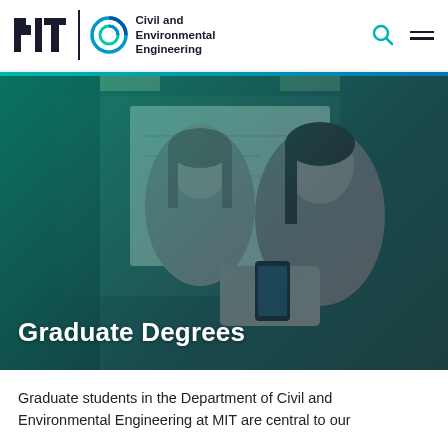[Figure (logo): MIT logo and Civil and Environmental Engineering department logo with department name]
[Figure (photo): Two female students looking at a phone or device together, with a whiteboard in the background, overlaid with a teal/dark blue gradient]
Graduate Degrees
Graduate students in the Department of Civil and Environmental Engineering at MIT are central to our